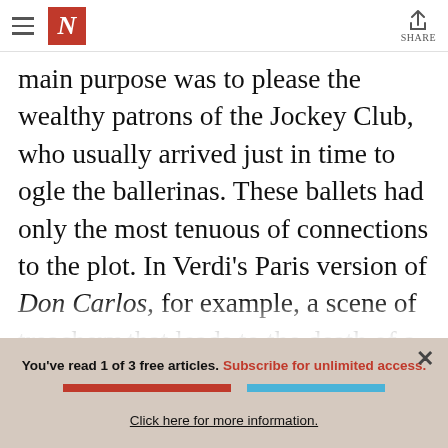New Yorker navigation bar with hamburger menu, N logo, and Share button
main purpose was to please the wealthy patrons of the Jockey Club, who usually arrived just in time to ogle the ballerinas. These ballets had only the most tenuous of connections to the plot. In Verdi's Paris version of Don Carlos, for example, a scene of treachery that leads to the death of a major character was followed by a bubbly underwater ballet about the search for a
You've read 1 of 3 free articles. Subscribe for unlimited access.
SUBSCRIBE
LOGIN
Click here for more information.